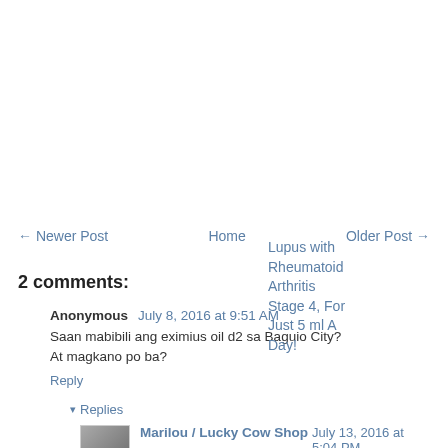Lupus with Rheumatoid Arthritis Stage 4, For Just 5 ml A Day!
← Newer Post   Home   Older Post →
2 comments:
Anonymous July 8, 2016 at 9:51 AM
Saan mabibili ang eximius oil d2 sa Baguio City? At magkano po ba?
Reply
▾ Replies
Marilou / Lucky Cow Shop July 13, 2016 at 5:04 PM
Hi. Please send your text message at 0917-838-1337. Thanks